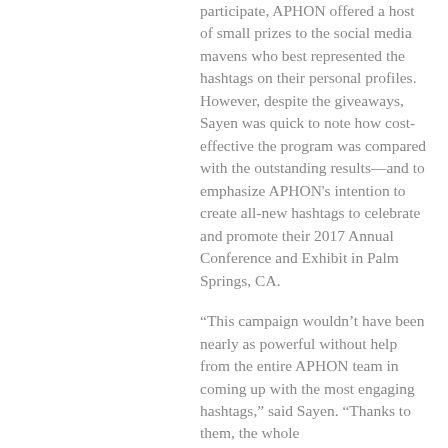participate, APHON offered a host of small prizes to the social media mavens who best represented the hashtags on their personal profiles. However, despite the giveaways, Sayen was quick to note how cost-effective the program was compared with the outstanding results—and to emphasize APHON's intention to create all-new hashtags to celebrate and promote their 2017 Annual Conference and Exhibit in Palm Springs, CA.
“This campaign wouldn’t have been nearly as powerful without help from the entire APHON team in coming up with the most engaging hashtags,” said Sayen. “Thanks to them, the whole